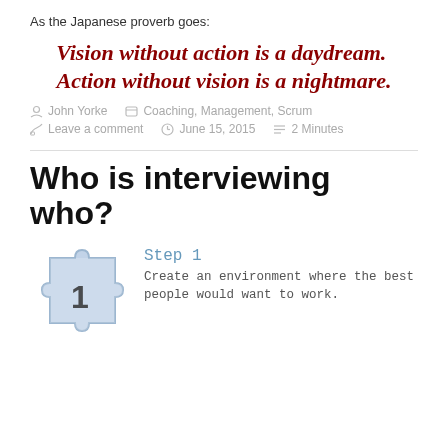As the Japanese proverb goes:
Vision without action is a daydream.  Action without vision is a nightmare.
John Yorke  Coaching, Management, Scrum  Leave a comment  June 15, 2015  2 Minutes
Who is interviewing who?
[Figure (illustration): Blue puzzle piece with number 1 on it]
Step 1
Create an environment where the best people would want to work.